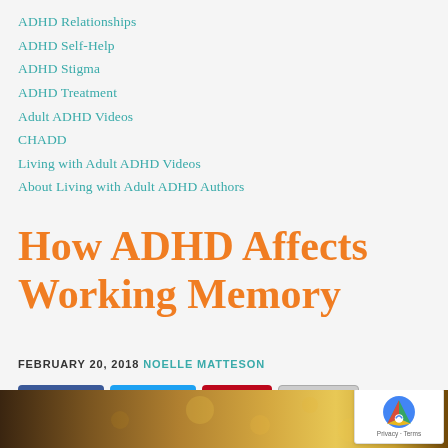ADHD Relationships
ADHD Self-Help
ADHD Stigma
ADHD Treatment
Adult ADHD Videos
CHADD
Living with Adult ADHD Videos
About Living with Adult ADHD Authors
How ADHD Affects Working Memory
FEBRUARY 20, 2018  NOELLE MATTESON
[Figure (photo): Bottom strip showing a warm golden/brown bokeh photo, partially visible]